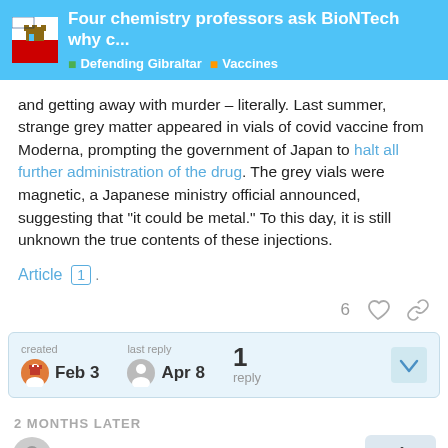Four chemistry professors ask BioNTech why c... | Defending Gibraltar | Vaccines
and getting away with murder – literally. Last summer, strange grey matter appeared in vials of covid vaccine from Moderna, prompting the government of Japan to halt all further administration of the drug. The grey vials were magnetic, a Japanese ministry official announced, suggesting that "it could be metal." To this day, it is still unknown the true contents of these injections.
Article 1 .
6 [reactions]
created Feb 3  last reply Apr 8  1 reply
2 MONTHS LATER
NancyDrewberry
1 / 2